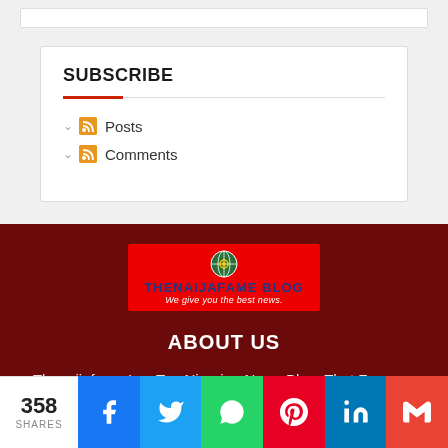SUBSCRIBE
Posts
Comments
[Figure (logo): Thenaijafame Blog logo — red banner with globe icon, blue bold text 'THENAIJAFAME BLOG' and white italic subtitle 'We give you the best news.']
ABOUT US
Thenaijafame Is a Top Nigerian News Blog, That Focuses On Nigerian Celebrity Gossip, Biographies, Politics, News,
358 SHARES | Facebook | Twitter | WhatsApp | Pinterest | LinkedIn | Gmail